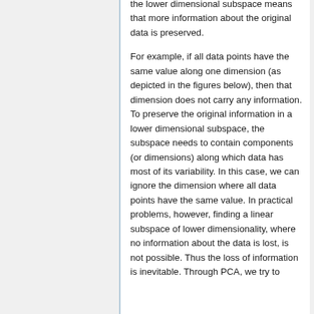the lower dimensional subspace means that more information about the original data is preserved.
For example, if all data points have the same value along one dimension (as depicted in the figures below), then that dimension does not carry any information. To preserve the original information in a lower dimensional subspace, the subspace needs to contain components (or dimensions) along which data has most of its variability. In this case, we can ignore the dimension where all data points have the same value. In practical problems, however, finding a linear subspace of lower dimensionality, where no information about the data is lost, is not possible. Thus the loss of information is inevitable. Through PCA, we try to